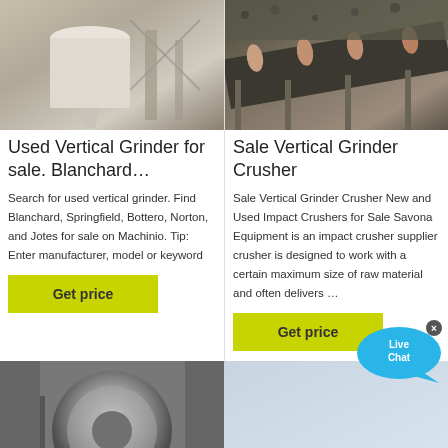[Figure (photo): Photo of industrial vertical grinder/silo equipment in a factory setting]
[Figure (photo): Photo of a conveyor belt with gravel/crushed material in industrial setting]
Used Vertical Grinder for sale. Blanchard…
Sale Vertical Grinder Crusher
Search for used vertical grinder. Find Blanchard, Springfield, Bottero, Norton, and Jotes for sale on Machinio. Tip: Enter manufacturer, model or keyword
Sale Vertical Grinder Crusher New and Used Impact Crushers for Sale Savona Equipment is an impact crusher supplier crusher is designed to work with a certain maximum size of raw material and often delivers …
[Figure (other): Live Chat bubble icon with text 'Live Chat']
[Figure (photo): Photo of industrial milling/grinding machine close-up]
[Figure (photo): Light blue/grey background - partial image of industrial equipment]